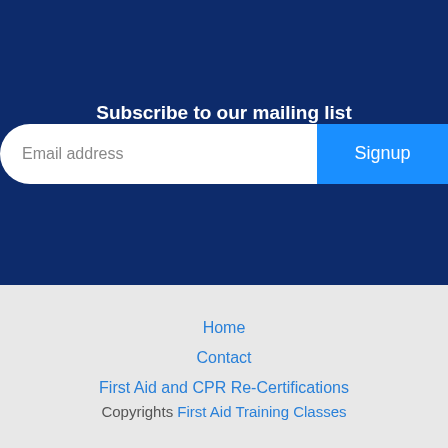Subscribe to our mailing list
Email address
Signup
Home
Contact
First Aid and CPR Re-Certifications
Copyrights First Aid Training Classes